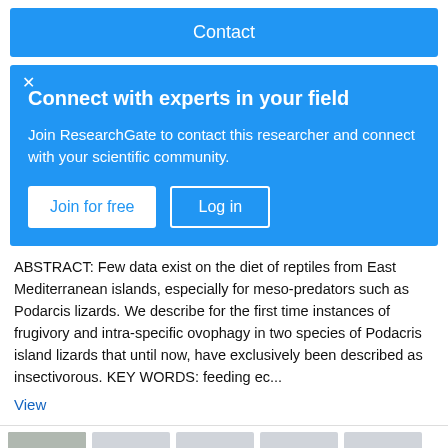Contact
Connect with experts in your field
Join ResearchGate to contact this researcher and connect with your scientific community.
ABSTRACT: Few data exist on the diet of reptiles from East Mediterranean islands, especially for meso-predators such as Podarcis lizards. We describe for the first time instances of frugivory and intra-specific ovophagy in two species of Podacris island lizards that until now, have exclusively been described as insectivorous. KEY WORDS: feeding ec...
View
[Figure (photo): Thumbnail photo of a lizard (dark coloring) on a light surface, followed by four grey placeholder thumbnail images]